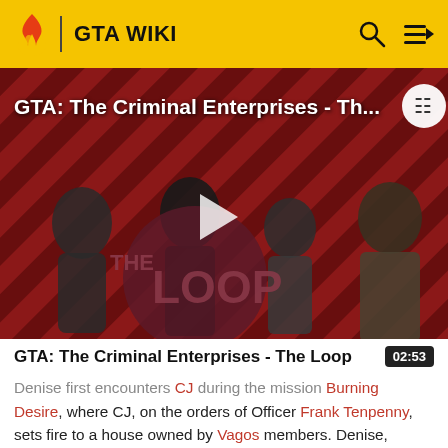GTA WIKI
[Figure (screenshot): GTA Wiki video thumbnail showing 'GTA: The Criminal Enterprises - Th...' with characters on a red striped background, a play button, and THE LOOP branding.]
GTA: The Criminal Enterprises - The Loop
Denise first encounters CJ during the mission Burning Desire, where CJ, on the orders of Officer Frank Tenpenny, sets fire to a house owned by Vagos members. Denise, who was inside the upper bedroom of the house, screams